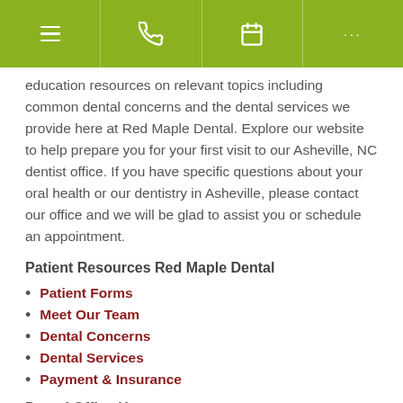Red Maple Dental
[Figure (screenshot): Navigation bar with green background containing hamburger menu icon, phone icon, calendar icon, and three dots menu icon]
education resources on relevant topics including common dental concerns and the dental services we provide here at Red Maple Dental. Explore our website to help prepare you for your first visit to our Asheville, NC dentist office. If you have specific questions about your oral health or our dentistry in Asheville, please contact our office and we will be glad to assist you or schedule an appointment.
Patient Resources Red Maple Dental
Patient Forms
Meet Our Team
Dental Concerns
Dental Services
Payment & Insurance
Dental Office Hours